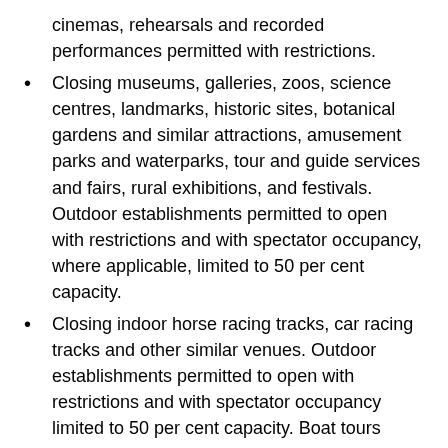cinemas, rehearsals and recorded performances permitted with restrictions.
Closing museums, galleries, zoos, science centres, landmarks, historic sites, botanical gardens and similar attractions, amusement parks and waterparks, tour and guide services and fairs, rural exhibitions, and festivals. Outdoor establishments permitted to open with restrictions and with spectator occupancy, where applicable, limited to 50 per cent capacity.
Closing indoor horse racing tracks, car racing tracks and other similar venues. Outdoor establishments permitted to open with restrictions and with spectator occupancy limited to 50 per cent capacity. Boat tours permitted at 50 per cent capacity.
Closing indoor sport and recreational fitness